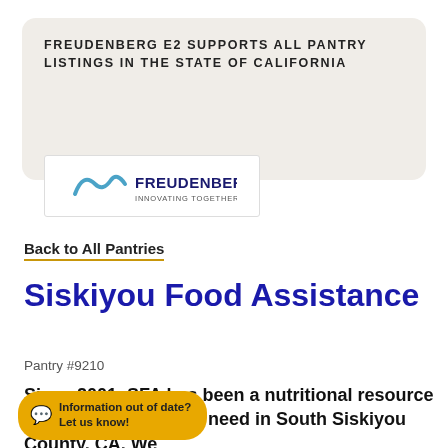FREUDENBERG E2 SUPPORTS ALL PANTRY LISTINGS IN THE STATE OF CALIFORNIA
[Figure (logo): Freudenberg logo with wave icon and text 'FREUDENBERG INNOVATING TOGETHER']
Back to All Pantries
Siskiyou Food Assistance
Pantry #9210
Since 2001, SFA has been a nutritional resource for those with urgent need in South Siskiyou County, CA. We
Information out of date? Let us know!